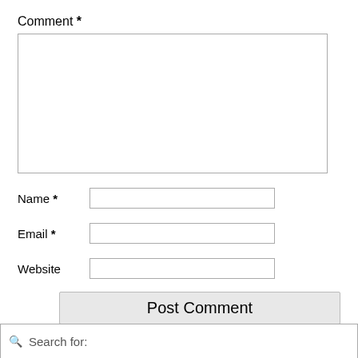Comment *
Name *
Email *
Website
Post Comment
This site uses Akismet to reduce spam. Learn how your comment data is processed.
Search for: